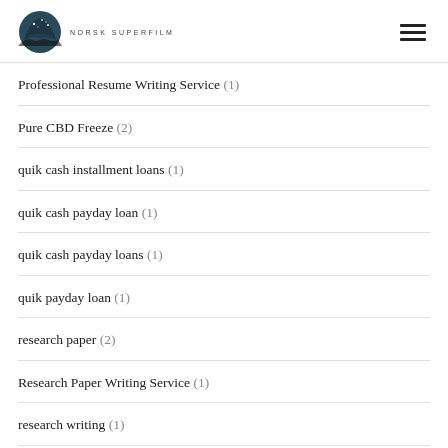NORSK SUPERFILM
Professional Resume Writing Service (1)
Pure CBD Freeze (2)
quik cash installment loans (1)
quik cash payday loan (1)
quik cash payday loans (1)
quik payday loan (1)
research paper (2)
Research Paper Writing Service (1)
research writing (1)
reviewingwriting (239)